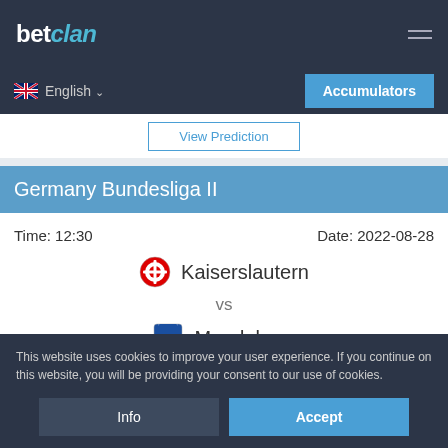betclan
English
Accumulators
View Prediction
Germany Bundesliga II
Time: 12:30   Date: 2022-08-28
Kaiserslautern vs Magdeburg
This website uses cookies to improve your user experience. If you continue on this website, you will be providing your consent to our use of cookies.
Info   Accept